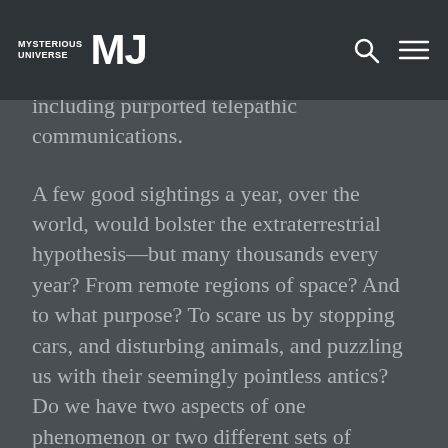MYSTERIOUS UNIVERSE MU
(electro-magnetic interference) effect, the physiological effects on percipients, including purported telepathic communications.
A few good sightings a year, over the world, would bolster the extraterrestrial hypothesis—but many thousands every year? From remote regions of space? And to what purpose? To scare us by stopping cars, and disturbing animals, and puzzling us with their seemingly pointless antics? Do we have two aspects of one phenomenon or two different sets of phenomena? I do believe that the UFO phenomenon as a whole is real, but I do not mean necessarily that it's just one thing. We must ask whether the diversity of observed